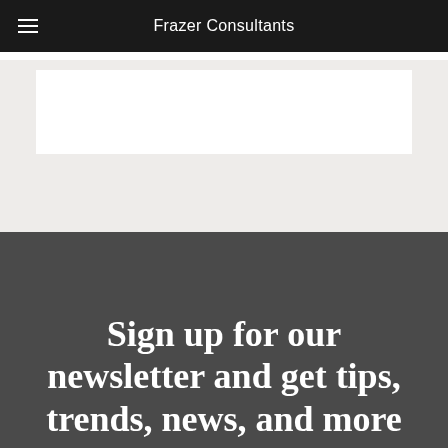Frazer Consultants
[Figure (other): White rectangular content area on light gray background]
Sign up for our newsletter and get tips, trends, news, and more